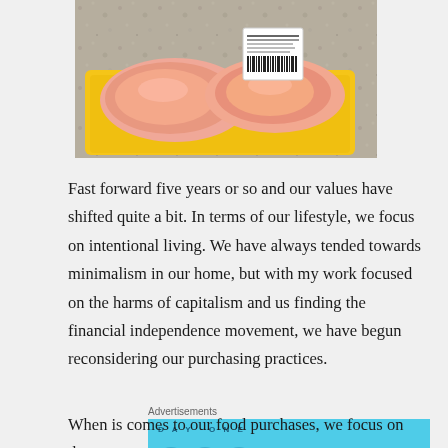[Figure (photo): A packaged tray of raw chicken breasts with a yellow tray and a white barcode/price label sticker, sitting on a granite countertop.]
Fast forward five years or so and our values have shifted quite a bit. In terms of our lifestyle, we focus on intentional living. We have always tended towards minimalism in our home, but with my work focused on the harms of capitalism and us finding the financial independence movement, we have begun reconsidering our purchasing practices.
[Figure (other): Day One journaling app advertisement banner. Blue background with app icon illustrations and text: 'DAY ONE - The only journaling app you'll ever need.']
When is comes to our food purchases, we focus on the